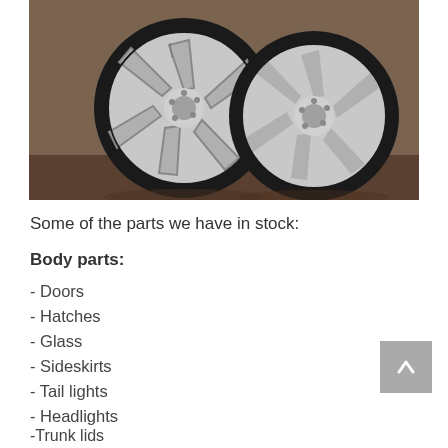[Figure (photo): Two silver alloy wheels with tires photographed on a brown/grey surface background]
Some of the parts we have in stock:
Body parts:
- Doors
- Hatches
- Glass
- Sideskirts
- Tail lights
- Headlights
-Trunk lids
-Hoods
-Hood scoops